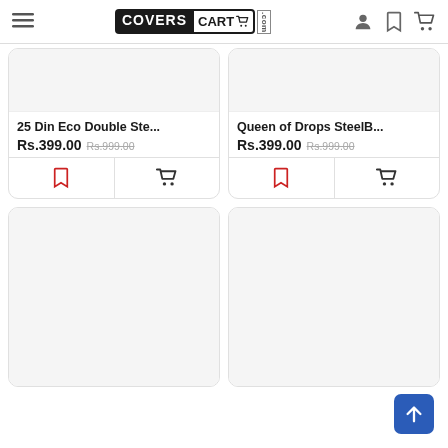CoversCart.com — navigation header with hamburger, logo, user icon, bookmark icon, cart icon
25 Din Eco Double Ste... Rs.399.00 Rs.999.00
Queen of Drops SteelB... Rs.399.00 Rs.999.00
[Figure (screenshot): Two product cards (partial view): left card '25 Din Eco Double Ste...' priced Rs.399.00 (was Rs.999.00) with bookmark and cart buttons; right card 'Queen of Drops SteelB...' priced Rs.399.00 (was Rs.999.00) with bookmark and cart buttons. Below: two empty product card placeholders. Back-to-top blue button at bottom right.]